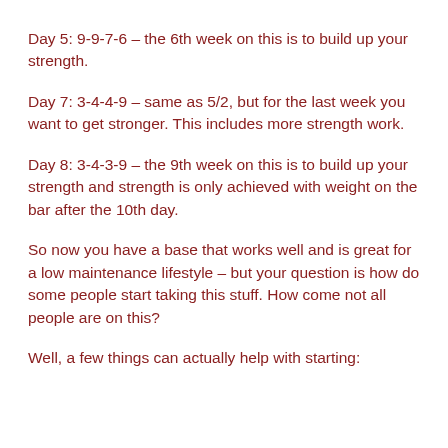Day 5: 9-9-7-6 – the 6th week on this is to build up your strength.
Day 7: 3-4-4-9 – same as 5/2, but for the last week you want to get stronger. This includes more strength work.
Day 8: 3-4-3-9 – the 9th week on this is to build up your strength and strength is only achieved with weight on the bar after the 10th day.
So now you have a base that works well and is great for a low maintenance lifestyle – but your question is how do some people start taking this stuff. How come not all people are on this?
Well, a few things can actually help with starting: